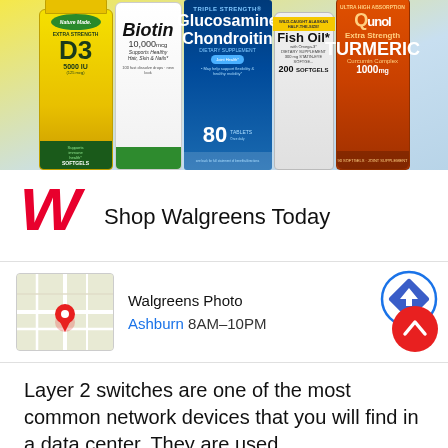[Figure (photo): Advertisement banner showing multiple supplement products: Nature Made Extra Strength D3 5000 IU, Biotin 10,000 mcg, Triple Strength Glucosamine Chondroitin 80 tablets, Wild-Caught Alaskan Half-the-Size Fish Oil 200 softgels, and Qunol Extra Strength Turmeric Curcumin Complex 1000mg, on a yellow and light blue background.]
[Figure (logo): Walgreens red cursive W logo]
Shop Walgreens Today
[Figure (map): Small map thumbnail showing a location pin on a street map]
Walgreens Photo
Ashburn 8AM–10PM
[Figure (illustration): Blue circle with white navigation arrow icon (directions button)]
[Figure (illustration): Red circle with white up chevron icon (scroll to top button)]
Layer 2 switches are one of the most common network devices that you will find in a data center. They are used